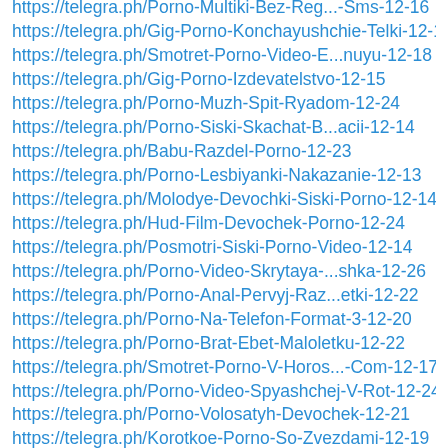https://telegra.ph/Porno-Multiki-Bez-Reg...-Sms-12-16
https://telegra.ph/Gig-Porno-Konchayushchie-Telki-12-13
https://telegra.ph/Smotret-Porno-Video-E...nuyu-12-18
https://telegra.ph/Gig-Porno-Izdevatelstvo-12-15
https://telegra.ph/Porno-Muzh-Spit-Ryadom-12-24
https://telegra.ph/Porno-Siski-Skachat-B...acii-12-14
https://telegra.ph/Babu-Razdel-Porno-12-23
https://telegra.ph/Porno-Lesbiyanki-Nakazanie-12-13
https://telegra.ph/Molodye-Devochki-Siski-Porno-12-14
https://telegra.ph/Hud-Film-Devochek-Porno-12-24
https://telegra.ph/Posmotri-Siski-Porno-Video-12-14
https://telegra.ph/Porno-Video-Skrytaya-...shka-12-26
https://telegra.ph/Porno-Anal-Pervyj-Raz...etki-12-22
https://telegra.ph/Porno-Na-Telefon-Format-3-12-20
https://telegra.ph/Porno-Brat-Ebet-Maloletku-12-22
https://telegra.ph/Smotret-Porno-V-Horos...-Com-12-17
https://telegra.ph/Porno-Video-Spyashchej-V-Rot-12-24
https://telegra.ph/Porno-Volosatyh-Devochek-12-21
https://telegra.ph/Korotkoe-Porno-So-Zvezdami-12-19
https://telegra.ph/Katalog-Spisok-Porno-Aktris-12-20
https://telegra.ph/Porno-Skroj-Kamery-ZH...ciya-12-25
https://telegra.ph/Veb-Kamera-Pokazyvaet-Porno-12-25
https://telegra.ph/Porno-Foto-Zrelyh-Bab...kami-12-25